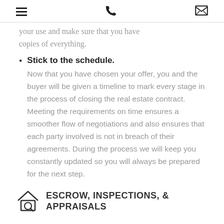[hamburger menu] [phone icon] [mail icon]
your use and make sure that you have copies of everything.
Stick to the schedule. Now that you have chosen your offer, you and the buyer will be given a timeline to mark every stage in the process of closing the real estate contract. Meeting the requirements on time ensures a smoother flow of negotiations and also ensures that each party involved is not in breach of their agreements. During the process we will keep you constantly updated so you will always be prepared for the next step.
ESCROW, INSPECTIONS, & APPRAISALS